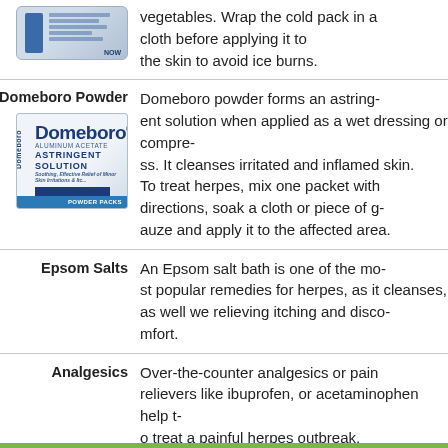[Figure (photo): Cold pack product image]
vegetables. Wrap the cold pack in a cloth before applying it to the skin to avoid ice burns.
Domeboro Powder
[Figure (photo): Domeboro Astringent Solution powder packet box]
Domeboro powder forms an astringent solution when applied as a wet dressing or compress. It cleanses irritated and inflamed skin. To treat herpes, mix one packet with directions, soak a cloth or piece of gauze and apply it to the affected area.
Epsom Salts
An Epsom salt bath is one of the most popular remedies for herpes, as it cleanses, as well we relieving itching and discomfort.
Analgesics
Over-the-counter analgesics or pain relievers like ibuprofen, or acetaminophen help to treat a painful herpes outbreak.
2. Smart Eating